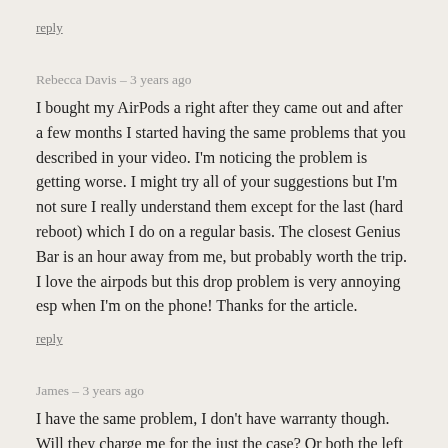reply
Rebecca Davis – 3 years ago
I bought my AirPods a right after they came out and after a few months I started having the same problems that you described in your video. I'm noticing the problem is getting worse. I might try all of your suggestions but I'm not sure I really understand them except for the last (hard reboot) which I do on a regular basis. The closest Genius Bar is an hour away from me, but probably worth the trip. I love the airpods but this drop problem is very annoying esp when I'm on the phone! Thanks for the article.
reply
James – 3 years ago
I have the same problem, I don't have warranty though. Will they charge me for the just the case? Or both the left AirPod and case
reply
Lawrence – 2 years ago
Worst Apple device ever these Airpods! Been trying to solve the